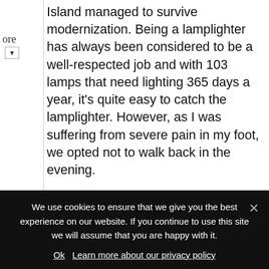Island managed to survive modernization. Being a lamplighter has always been considered to be a well-respected job and with 103 lamps that need lighting 365 days a year, it's quite easy to catch the lamplighter. However, as I was suffering from severe pain in my foot, we opted not to walk back in the evening.
[Figure (infographic): A popup overlay panel titled 'Follow me on:' with a close button (x), six social media icon circles (Facebook, Instagram, Pinterest, Twitter, Bloglovin, RSS), and partial text 'Or sign up to my newsletter' in handwritten brown style font.]
We use cookies to ensure that we give you the best experience on our website. If you continue to use this site we will assume that you are happy with it.
Ok   Learn more about our privacy policy